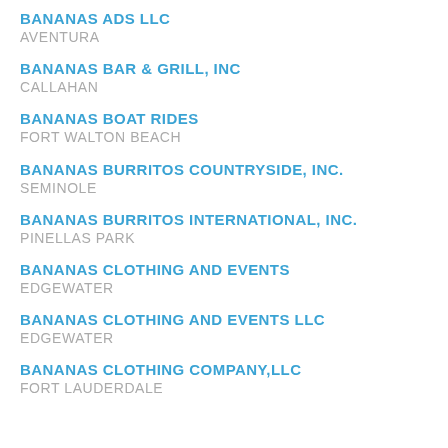BANANAS ADS LLC
AVENTURA
BANANAS BAR & GRILL, INC
CALLAHAN
BANANAS BOAT RIDES
FORT WALTON BEACH
BANANAS BURRITOS COUNTRYSIDE, INC.
SEMINOLE
BANANAS BURRITOS INTERNATIONAL, INC.
PINELLAS PARK
BANANAS CLOTHING AND EVENTS
EDGEWATER
BANANAS CLOTHING AND EVENTS LLC
EDGEWATER
BANANAS CLOTHING COMPANY,LLC
FORT LAUDERDALE